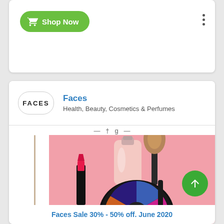[Figure (screenshot): Green 'Shop Now' button with shopping cart icon on white card]
[Figure (photo): Faces store listing with logo, store name 'Faces', category 'Health, Beauty, Cosmetics & Perfumes', and product image showing makeup items (lipstick, perfume bottle, makeup brush, eyeshadow palette) on pink background with colorful sprinkle donut]
Faces Sale 30% - 50% off. June 2020